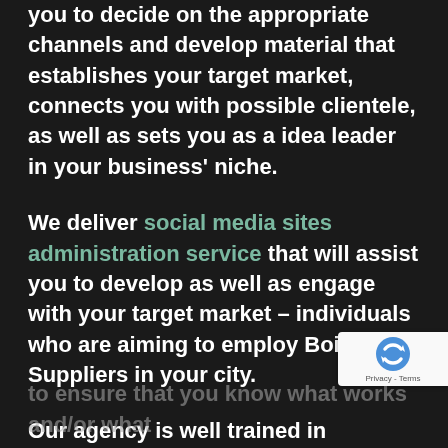you to decide on the appropriate channels and develop material that establishes your target market, connects you with possible clientele, as well as sets you as a idea leader in your business' niche.
We deliver social media sites administration service that will assist you to develop as well as engage with your target market – individuals who are aiming to employ Boiler Suppliers in your city.
Our agency is well trained in generating personalized analytics as well as reporting services to allow check and assess your social media marketing to ensure that you know what works and/or what
[Figure (other): Google reCAPTCHA badge with recycling-arrow logo and 'Privacy - Terms' text]